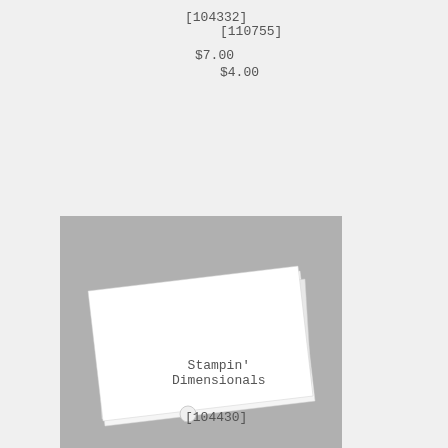[104332]
[110755]
$7.00
$4.00
[Figure (photo): Photo of Stampin' Dimensionals — foam adhesive dots on a white sheet, shown on a gray background]
Stampin' Dimensionals
[104430]